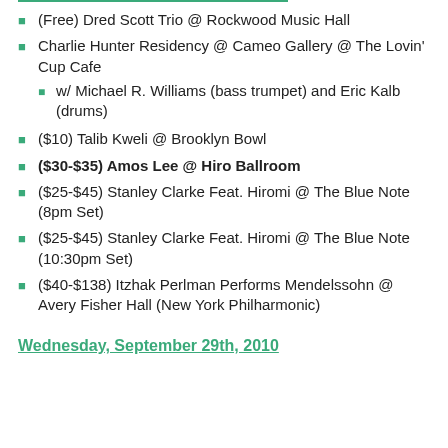(Free) Dred Scott Trio @ Rockwood Music Hall
Charlie Hunter Residency @ Cameo Gallery @ The Lovin' Cup Cafe
w/ Michael R. Williams (bass trumpet) and Eric Kalb (drums)
($10) Talib Kweli @ Brooklyn Bowl
($30-$35) Amos Lee @ Hiro Ballroom
($25-$45) Stanley Clarke Feat. Hiromi @ The Blue Note (8pm Set)
($25-$45) Stanley Clarke Feat. Hiromi @ The Blue Note (10:30pm Set)
($40-$138) Itzhak Perlman Performs Mendelssohn @ Avery Fisher Hall (New York Philharmonic)
Wednesday, September 29th, 2010